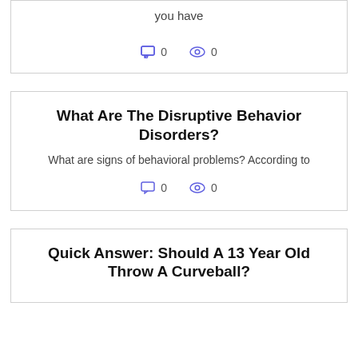you have
0  0
What Are The Disruptive Behavior Disorders?
What are signs of behavioral problems? According to
0  0
Quick Answer: Should A 13 Year Old Throw A Curveball?